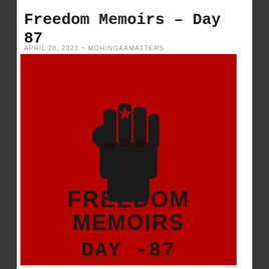Freedom Memoirs – Day 87
APRIL 28, 2021 ~ MOHINGAAMATTERS
[Figure (illustration): Red background image with a raised black fist symbol at the top and bold text reading 'FREEDOM MEMOIRS DAY -87' below it.]